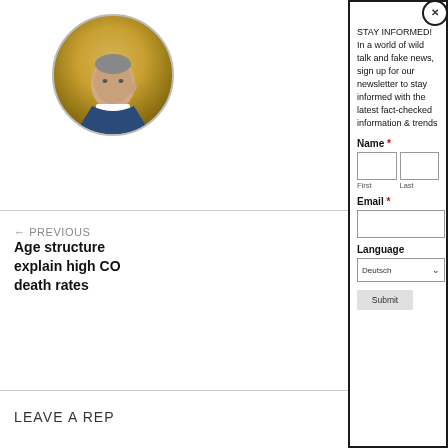[Figure (illustration): Circular avatar showing a painted portrait of a man in a blue suit with his hand raised to his head, against a gold background]
← PREVIOUS
Age structure … explain high CO… death rates
LEAVE A REP…
STAY INFORMED! In a world of wild talk and fake news, sign up for our newsletter to stay informed with the latest fact-checked information & trends
Name *
First
Last
Email *
Language
Deutsch
Submit